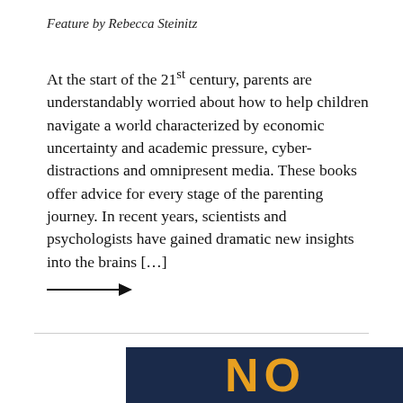Feature by Rebecca Steinitz
At the start of the 21st century, parents are understandably worried about how to help children navigate a world characterized by economic uncertainty and academic pressure, cyber-distractions and omnipresent media. These books offer advice for every stage of the parenting journey. In recent years, scientists and psychologists have gained dramatic new insights into the brains [...]
[Figure (other): A right-pointing arrow (→) indicating a link or continuation]
[Figure (photo): Partial view of a book cover with dark navy blue background and large yellow/gold letters 'NO' visible]